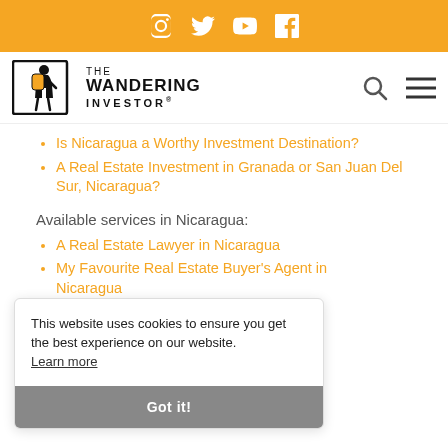Social media icons: Instagram, Twitter, YouTube, Facebook
[Figure (logo): The Wandering Investor logo with backpacker icon and brand name]
Is Nicaragua a Worthy Investment Destination?
A Real Estate Investment in Granada or San Juan Del Sur, Nicaragua?
Available services in Nicaragua:
A Real Estate Lawyer in Nicaragua
My Favourite Real Estate Buyer's Agent in Nicaragua
Create a company in Nicaragua
How to obtain Residency in Nicaragua
If you want to read more such articles on other
This website uses cookies to ensure you get the best experience on our website. Learn more